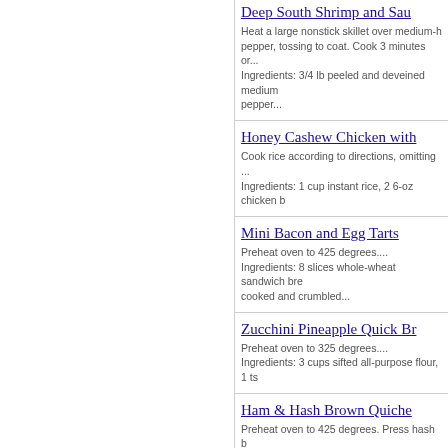Deep South Shrimp and Sau... Heat a large nonstick skillet over medium-h pepper, tossing to coat. Cook 3 minutes or... Ingredients: 3/4 lb peeled and deveined medium pepper...
Honey Cashew Chicken with... Cook rice according to directions, omitting... Ingredients: 1 cup instant rice, 2 6-oz chicken b...
Mini Bacon and Egg Tarts Preheat oven to 425 degrees.... Ingredients: 8 slices whole-wheat sandwich bre cooked and crumbled...
Zucchini Pineapple Quick Br... Preheat oven to 325 degrees.... Ingredients: 3 cups sifted all-purpose flour, 1 ts...
Ham & Hash Brown Quiche Preheat oven to 425 degrees. Press hash b 8-inch pie dish and press into the bottom a Ingredients: 3 C frozen hash browns, thawed, 3...
Dutch Apple Pie Preheat oven to 375 degrees. Fit pie crust cinnamon and nutmeg. Pile into crust.... Ingredients: 1 Pie Crust, 5 1/2 C peeled cored s...
White Bean Soup...